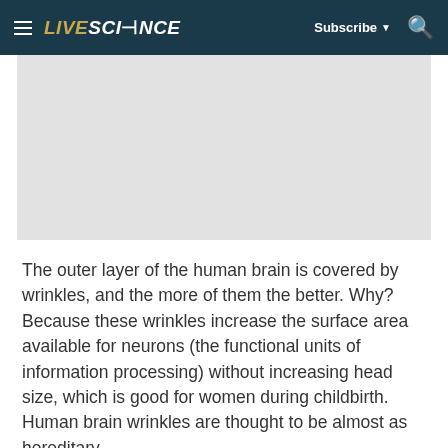LIVESCIENCE | Subscribe | Search
[Figure (photo): Gray placeholder image area representing a brain or related science image]
The outer layer of the human brain is covered by wrinkles, and the more of them the better. Why? Because these wrinkles increase the surface area available for neurons (the functional units of information processing) without increasing head size, which is good for women during childbirth. Human brain wrinkles are thought to be almost as hereditary